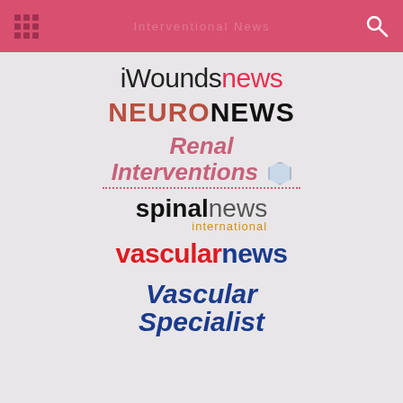[Figure (screenshot): Navigation header bar with grid menu icon, faded text, and search icon on pink/red background]
[Figure (logo): iWoundsnews logo - 'iWounds' in black thin font and 'news' in red]
[Figure (logo): NEURONEWS logo - 'NEURO' in brown/rust bold uppercase and 'NEWS' in black bold uppercase]
[Figure (logo): Renal Interventions logo - italic pink text with hexagon badge and dotted underline]
[Figure (logo): spinalnews international logo - 'spinal' in bold black, 'news' in gray light, 'international' in orange below]
[Figure (logo): vascularnews logo - 'vascular' in red bold and 'news' in dark blue bold]
[Figure (logo): Vascular Specialist logo - italic bold dark blue serif font, two lines]